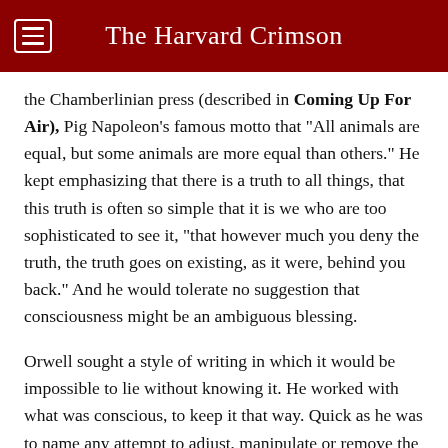The Harvard Crimson
the Chamberlinian press (described in Coming Up For Air), Pig Napoleon's famous motto that "All animals are equal, but some animals are more equal than others." He kept emphasizing that there is a truth to all things, that this truth is often so simple that it is we who are too sophisticated to see it, "that however much you deny the truth, the truth goes on existing, as it were, behind you back." And he would tolerate no suggestion that consciousness might be an ambiguous blessing.
Orwell sought a style of writing in which it would be impossible to lie without knowing it. He worked with what was conscious, to keep it that way. Quick as he was to name any attempt to adjust, manipulate or remove the thoughts of people, he was no psychological writer. He preferred to stay near the surface of things, things like the